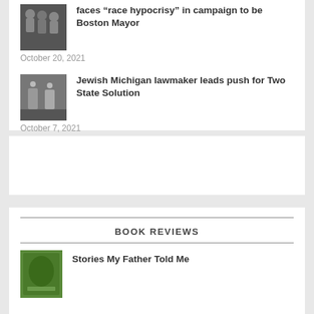faces “race hypocrisy” in campaign to be Boston Mayor
October 20, 2021
[Figure (photo): Group photo thumbnail for Boston Mayor article]
Jewish Michigan lawmaker leads push for Two State Solution
October 7, 2021
[Figure (photo): Two people walking photo thumbnail for Two State Solution article]
BOOK REVIEWS
[Figure (photo): Book cover thumbnail for Stories My Father Told Me]
Stories My Father Told Me